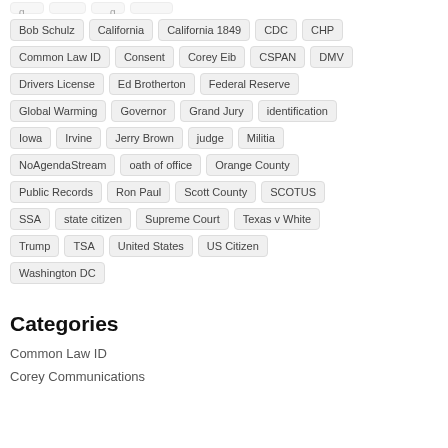Bob Schulz
California
California 1849
CDC
CHP
Common Law ID
Consent
Corey Eib
CSPAN
DMV
Drivers License
Ed Brotherton
Federal Reserve
Global Warming
Governor
Grand Jury
identification
Iowa
Irvine
Jerry Brown
judge
Militia
NoAgendaStream
oath of office
Orange County
Public Records
Ron Paul
Scott County
SCOTUS
SSA
state citizen
Supreme Court
Texas v White
Trump
TSA
United States
US Citizen
Washington DC
Categories
Common Law ID
Corey Communications